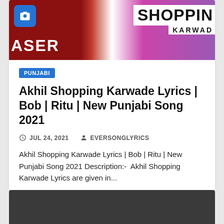[Figure (photo): Thumbnail image showing text overlays 'ASER', 'SHOPPIN', 'KARWAD' with a camera icon badge on top left. Background shows people in colorful clothing.]
PUNJABI
Akhil Shopping Karwade Lyrics | Bob | Ritu | New Punjabi Song 2021
JUL 24, 2021   EVERSONGLYRICS
Akhil Shopping Karwade Lyrics | Bob | Ritu | New Punjabi Song 2021 Description:-  Akhil Shopping Karwade Lyrics are given in...
[Figure (photo): Dark gray/charcoal colored area at the bottom of the page, partial view of another card or image section.]